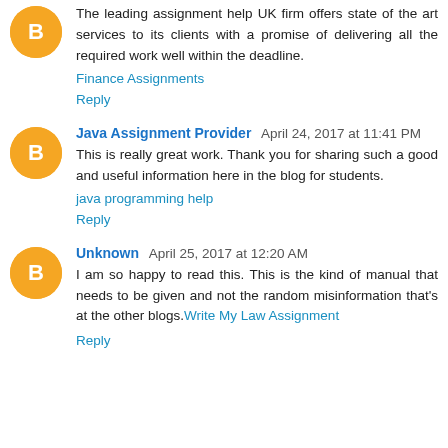The leading assignment help UK firm offers state of the art services to its clients with a promise of delivering all the required work well within the deadline.
Finance Assignments
Reply
Java Assignment Provider  April 24, 2017 at 11:41 PM
This is really great work. Thank you for sharing such a good and useful information here in the blog for students.
java programming help
Reply
Unknown  April 25, 2017 at 12:20 AM
I am so happy to read this. This is the kind of manual that needs to be given and not the random misinformation that's at the other blogs. Write My Law Assignment
Reply